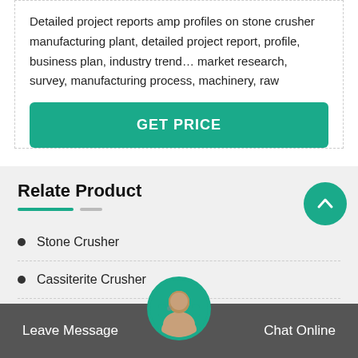Detailed project reports amp profiles on stone crusher manufacturing plant, detailed project report, profile, business plan, industry trend… market research, survey, manufacturing process, machinery, raw
GET PRICE
Relate Product
Stone Crusher
Cassiterite Crusher
Wollastonite Grinding Mill
Basalt/Diabase Stone Crusher
Leave Message
Chat Online